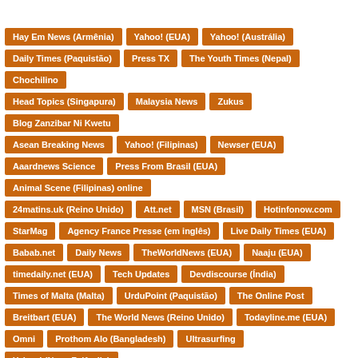Hay Em News (Armênia)
Yahoo! (EUA)
Yahoo! (Austrália)
Daily Times (Paquistão)
Press TX
The Youth Times (Nepal)
Chochilino
Head Topics (Singapura)
Malaysia News
Zukus
Blog Zanzibar Ni Kwetu
Asean Breaking News
Yahoo! (Filipinas)
Newser (EUA)
Aaardnews Science
Press From Brasil (EUA)
Animal Scene (Filipinas) online
24matins.uk (Reino Unido)
Att.net
MSN (Brasil)
Hotinfonow.com
StarMag
Agency France Presse (em inglês)
Live Daily Times (EUA)
Babab.net
Daily News
TheWorldNews (EUA)
Naaju (EUA)
timedaily.net (EUA)
Tech Updates
Devdiscourse (Índia)
Times of Malta (Malta)
UrduPoint (Paquistão)
The Online Post
Breitbart (EUA)
The World News (Reino Unido)
Todayline.me (EUA)
Omni
Prothom Alo (Bangladesh)
Ultrasurfing
Yahoo! (Nova Zelândia)
AAJ News (Paquistão)
MonsterFishKeepers.com
Baaghi TV (Paquistão)
AsiaOne (Singapura)
The Phnom Penh Post (Camboia)